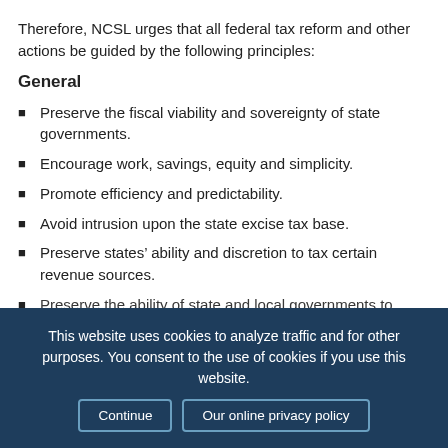Therefore, NCSL urges that all federal tax reform and other actions be guided by the following principles:
General
Preserve the fiscal viability and sovereignty of state governments.
Encourage work, savings, equity and simplicity.
Promote efficiency and predictability.
Avoid intrusion upon the state excise tax base.
Preserve states’ ability and discretion to tax certain revenue sources.
Preserve the ability of state and local governments to adopt fair and effective tax systems. This includes
This website uses cookies to analyze traffic and for other purposes. You consent to the use of cookies if you use this website. Continue | Our online privacy policy